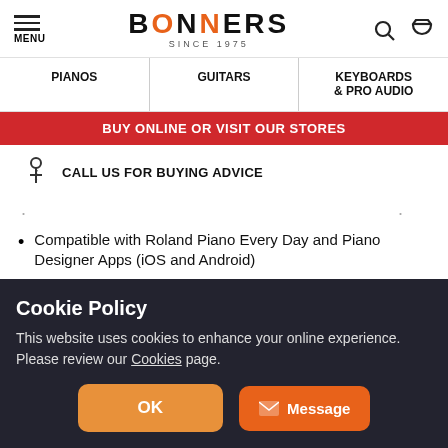MENU | BONNERS SINCE 1975
PIANOS | GUITARS | KEYBOARDS & PRO AUDIO
BUY ONLINE OR VISIT OUR STORES
CALL US FOR BUYING ADVICE
Compatible with Roland Piano Every Day and Piano Designer Apps (iOS and Android)
Metronome
Registration Memory...
Cookie Policy
This website uses cookies to enhance your online experience. Please review our Cookies page.
OK
Message